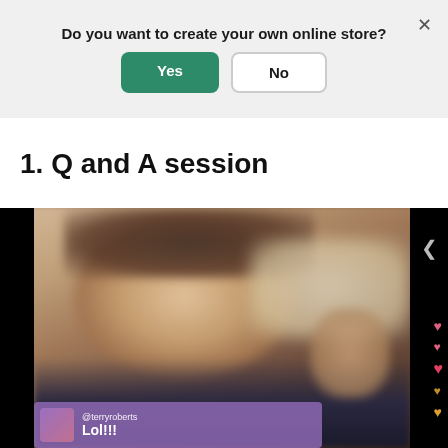Do you want to create your own online store?
Yes
No
1. Q and A session
[Figure (screenshot): A blurred close-up video frame of a middle-aged man smiling and waving, shown in a mobile video player interface with black side panels, a back arrow, floating heart reactions on the right side, and a comment overlay at the bottom showing username @terryroberts with message 'Lol!!!']